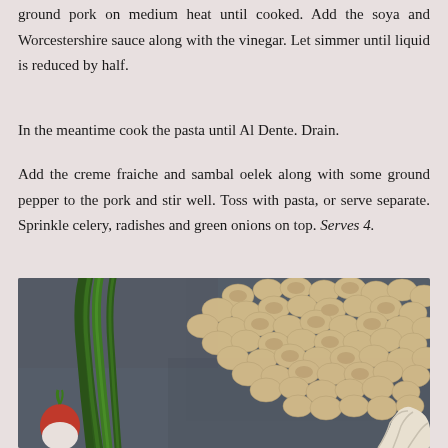ground pork on medium heat until cooked. Add the soya and Worcestershire sauce along with the vinegar. Let simmer until liquid is reduced by half.
In the meantime cook the pasta until Al Dente. Drain.
Add the creme fraiche and sambal oelek along with some ground pepper to the pork and stir well. Toss with pasta, or serve separate. Sprinkle celery, radishes and green onions on top. Serves 4.
[Figure (photo): Photo of ingredients on a dark slate surface: green onions/scallions on the left, a pile of orecchiette pasta in the center and right, a red and white radish in the bottom left, and a white vegetable (fennel or similar) in the bottom right corner.]